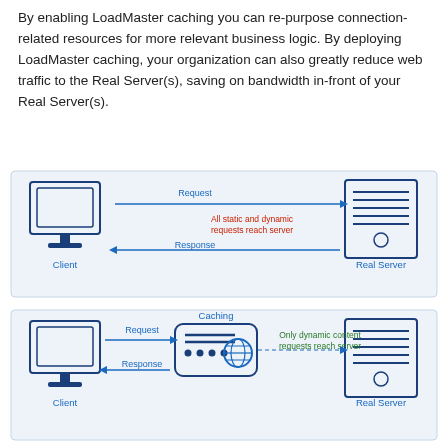By enabling LoadMaster caching you can re-purpose connection-related resources for more relevant business logic. By deploying LoadMaster caching, your organization can also greatly reduce web traffic to the Real Server(s), saving on bandwidth in-front of your Real Server(s).
[Figure (infographic): Two network diagrams. Top: Client sends Request arrow to Real Server; Response arrow returns. Red label: 'All static and dynamic requests reach server'. Bottom: Client sends Request arrow to Caching device (middle); Response arrow returns. Caching device has arrow to Real Server. Green label: 'Only dynamic content requests reach server'.]